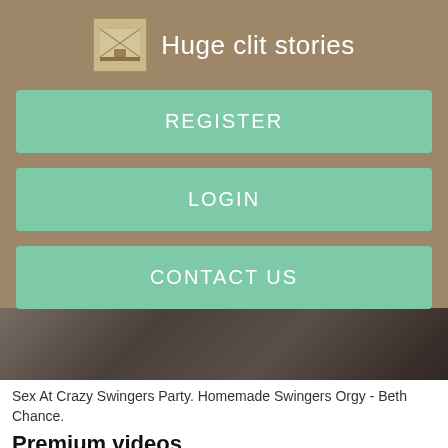Huge clit stories
REGISTER
LOGIN
CONTACT US
[Figure (photo): Partial view of a person in a dark outdoor setting]
Sex At Crazy Swingers Party. Homemade Swingers Orgy - Beth Chance.
Premium videos
Becamy Family Stepmom with Mr Step brother Some Action At...